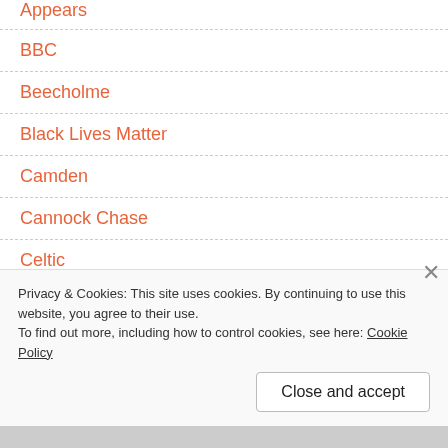Appears
BBC
Beecholme
Black Lives Matter
Camden
Cannock Chase
Celtic
Child Abduction
Privacy & Cookies: This site uses cookies. By continuing to use this website, you agree to their use.
To find out more, including how to control cookies, see here: Cookie Policy
Close and accept